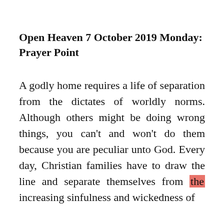Open Heaven 7 October 2019 Monday: Prayer Point
A godly home requires a life of separation from the dictates of worldly norms. Although others might be doing wrong things, you can't and won't do them because you are peculiar unto God. Every day, Christian families have to draw the line and separate themselves from the increasing sinfulness and wickedness of